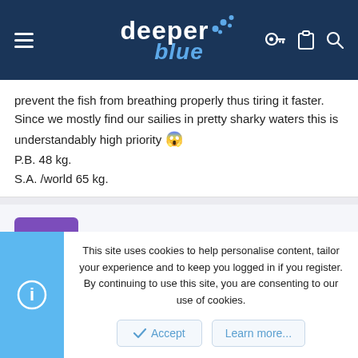DeeperBlue navigation header
prevent the fish from breathing properly thus tiring it faster. Since we mostly find our sailies in pretty sharky waters this is understandably high priority 😱
P.B. 48 kg.
S.A. /world 65 kg.
SASpearo
Desk Driver
Jan 17, 2002  #4
This site uses cookies to help personalise content, tailor your experience and to keep you logged in if you register.
By continuing to use this site, you are consenting to our use of cookies.
Accept  Learn more...